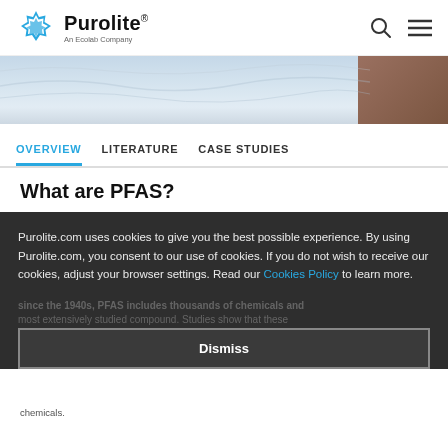Purolite — An Ecolab Company
[Figure (photo): Hero banner image with light blue-gray water/wave texture and a dark brown element in the bottom right corner]
OVERVIEW | LITERATURE | CASE STUDIES
What are PFAS?
Purolite.com uses cookies to give you the best possible experience. By using Purolite.com, you consent to our use of cookies. If you do not wish to receive our cookies, adjust your browser settings. Read our Cookies Policy to learn more.
Dismiss